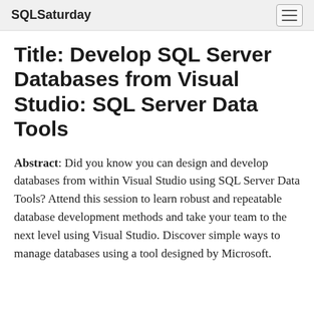SQLSaturday
Title: Develop SQL Server Databases from Visual Studio: SQL Server Data Tools
Abstract: Did you know you can design and develop databases from within Visual Studio using SQL Server Data Tools? Attend this session to learn robust and repeatable database development methods and take your team to the next level using Visual Studio. Discover simple ways to manage databases using a tool designed by Microsoft.